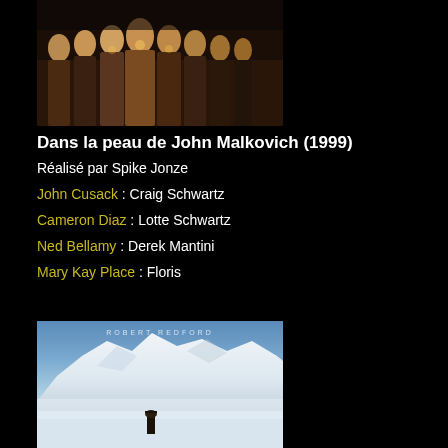[Figure (photo): Movie poster for Dans la peau de John Malkovich (1999) showing a group of bald figures in robes holding candles]
Dans la peau de John Malkovich (1999)
Réalisé par Spike Jonze
John Cusack : Craig Schwartz
Cameron Diaz : Lotte Schwartz
Ned Bellamy : Derek Mantini
Mary Kay Place : Floris
[Figure (photo): Movie poster showing Robert Redford standing before snow-capped mountains, with text ROBERT REDFORD at the top]